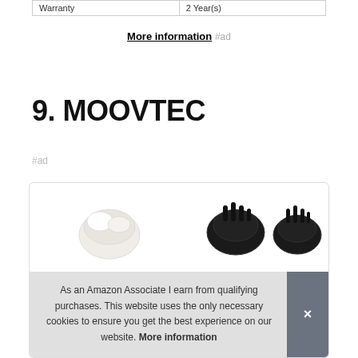| Warranty | 2 Year(s) |
| --- | --- |
More information #ad
9. MOOVTEC
#ad
[Figure (photo): Product images showing white and black roller/massage device components]
As an Amazon Associate I earn from qualifying purchases. This website uses the only necessary cookies to ensure you get the best experience on our website. More information